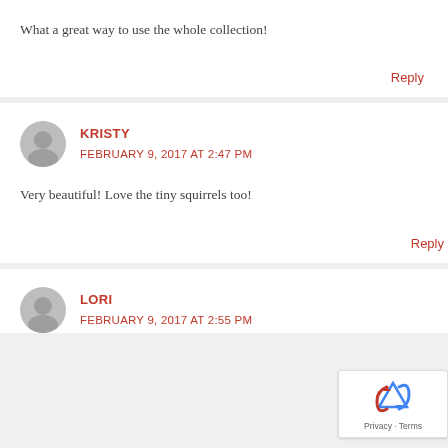What a great way to use the whole collection!
Reply
KRISTY
FEBRUARY 9, 2017 AT 2:47 PM
Very beautiful! Love the tiny squirrels too!
Reply
LORI
FEBRUARY 9, 2017 AT 2:55 PM